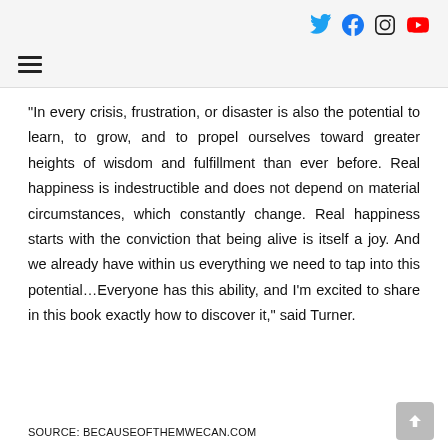Social media icons: Twitter, Facebook, Instagram, YouTube; Hamburger menu
“In every crisis, frustration, or disaster is also the potential to learn, to grow, and to propel ourselves toward greater heights of wisdom and fulfillment than ever before. Real happiness is indestructible and does not depend on material circumstances, which constantly change. Real happiness starts with the conviction that being alive is itself a joy. And we already have within us everything we need to tap into this potential…Everyone has this ability, and I’m excited to share in this book exactly how to discover it,” said Turner.
SOURCE: BECAUSEOFTHEMWECAN.COM